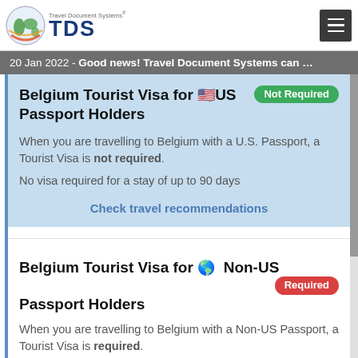Travel Document Systems TDS
20 Jan 2022 - Good news! Travel Document Systems can ...
Belgium Tourist Visa for 🇺🇸 US Passport Holders  Not Required
When you are travelling to Belgium with a U.S. Passport, a Tourist Visa is not required. No visa required for a stay of up to 90 days
Check travel recommendations
Belgium Tourist Visa for 🌎 Non-US Passport Holders  Required
When you are travelling to Belgium with a Non-US Passport, a Tourist Visa is required. TDS is unable to assist at this time.